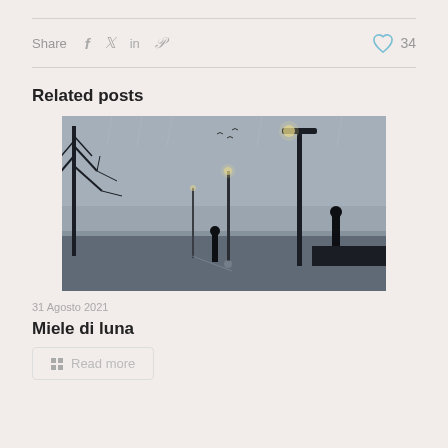Share  f  in  P    34
Related posts
[Figure (illustration): Dark moody painting of a rainy city street at night with bare trees, lamp posts, and silhouetted figures walking along a wet promenade]
31 Agosto 2021
Miele di luna
Read more